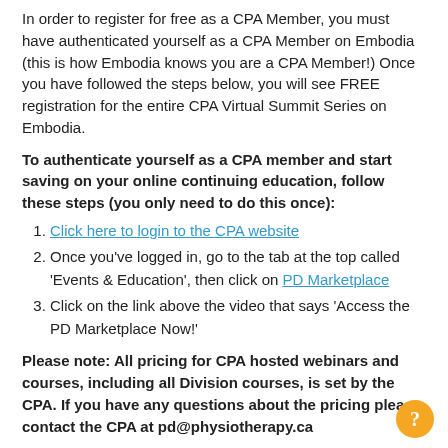In order to register for free as a CPA Member, you must have authenticated yourself as a CPA Member on Embodia (this is how Embodia knows you are a CPA Member!) Once you have followed the steps below, you will see FREE registration for the entire CPA Virtual Summit Series on Embodia.
To authenticate yourself as a CPA member and start saving on your online continuing education, follow these steps (you only need to do this once):
Click here to login to the CPA website
Once you've logged in, go to the tab at the top called 'Events & Education', then click on PD Marketplace
Click on the link above the video that says 'Access the PD Marketplace Now!'
Please note: All pricing for CPA hosted webinars and courses, including all Division courses, is set by the CPA. If you have any questions about the pricing please contact the CPA at pd@physiotherapy.ca